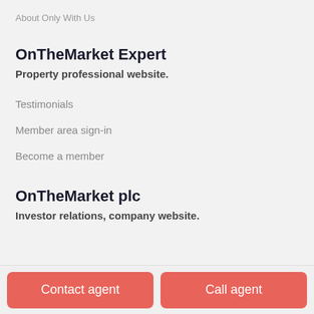About Only With Us
OnTheMarket Expert
Property professional website.
Testimonials
Member area sign-in
Become a member
OnTheMarket plc
Investor relations, company website.
Contact agent
Call agent